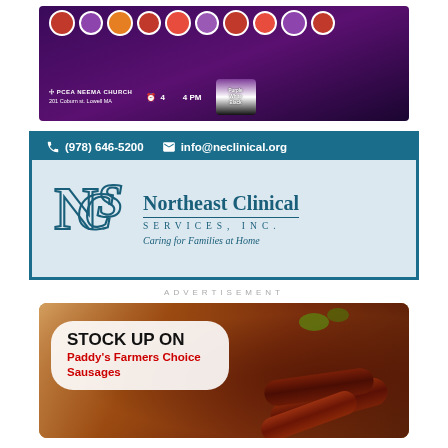[Figure (photo): Church event advertisement banner showing group of women in colorful attire. Text reads: PCEA NEEMA CHURCH, 201 Coburn st. Lowell MA, 4 PM, Purple White Black]
[Figure (infographic): Northeast Clinical Services Inc advertisement. Header bar: (978) 646-5200, info@neclinical.org. Logo: NCS monogram and text 'Northeast Clinical SERVICES, INC.' with tagline 'Caring for Families at Home']
ADVERTISEMENT
[Figure (photo): Advertisement for Paddy's Farmers Choice Sausages. Text box reads: STOCK UP ON Paddy's Farmers Choice Sausages. Background shows grilled sausages.]